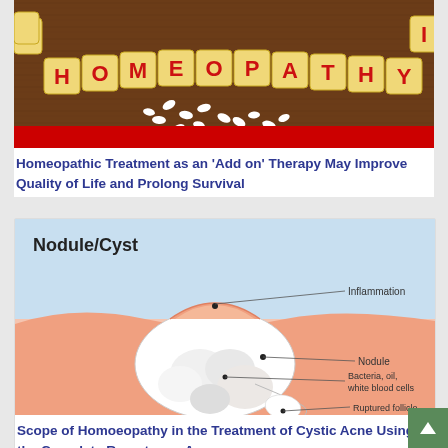[Figure (photo): Photo of homeopathy letter tiles spelling HOMEOPATHY on a wooden surface with small white pills scattered in front, with a red bar at the bottom of the image]
Homeopathic Treatment as an 'Add on' Therapy May Improve Quality of Life and Prolong Survival
[Figure (illustration): Medical illustration of a Nodule/Cyst cross-section showing skin layers with labels: Inflammation (top), Nodule (middle right), Bacteria oil white blood cells (center), Ruptured follicle (bottom right). Blue sky background, pink skin layers.]
Scope of Homoeopathy in the Treatment of Cystic Acne Using the Complete Repertory – A